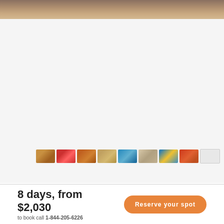[Figure (photo): Top banner photo showing a rocky/sandy landscape in warm brown tones]
[Figure (photo): Row of 9 thumbnail images showing travel destinations including markets, cityscapes, canals, and a map]
8 days, from $2,030
to book call 1-844-205-6226
Reserve your spot